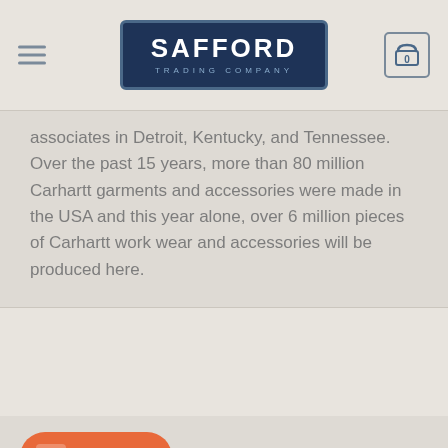Safford Trading Company
associates in Detroit, Kentucky, and Tennessee. Over the past 15 years, more than 80 million Carhartt garments and accessories were made in the USA and this year alone, over 6 million pieces of Carhartt work wear and accessories will be produced here.
[Figure (other): Text us! chat button (orange pill-shaped button with chat icon)]
[Figure (other): Partially visible dark navy button at bottom of page]